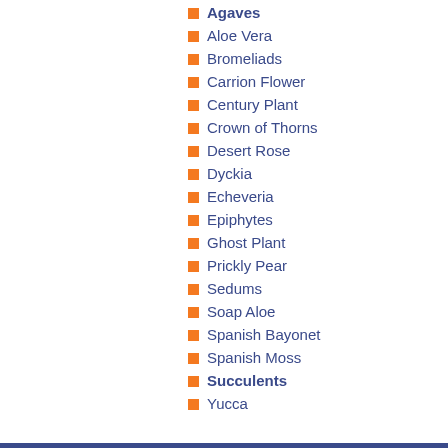Agaves
Aloe Vera
Bromeliads
Carrion Flower
Century Plant
Crown of Thorns
Desert Rose
Dyckia
Echeveria
Epiphytes
Ghost Plant
Prickly Pear
Sedums
Soap Aloe
Spanish Bayonet
Spanish Moss
Succulents
Yucca